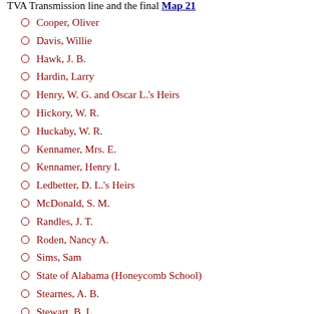TVA Transmission line and the final Map 21
Cooper, Oliver
Davis, Willie
Hawk, J. B.
Hardin, Larry
Henry, W. G. and Oscar L.'s Heirs
Hickory, W. R.
Huckaby, W. R.
Kennamer, Mrs. E.
Kennamer, Henry I.
Ledbetter, D. L.'s Heirs
McDonald, S. M.
Randles, J. T.
Roden, Nancy A.
Sims, Sam
State of Alabama (Honeycomb School)
Stearnes, A. B.
Stewart, B. L.
Stewart, W. D.
Stewart, M. L.
Stewart, Mary E.
Stewart, Wallace R.'s Heirs
Stewart, W. E.
Stuart, Olin
Troup, J. B.
Troup, J. W.